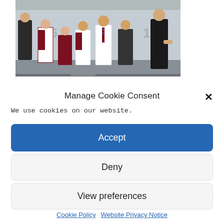[Figure (photo): Group photo of school students in uniform (white shirts, maroon blazers, maroon-and-blue striped ties) and a female adult on a stage, with numbers 16 and 13 visible in the background.]
Manage Cookie Consent
We use cookies on our website.
Accept
Deny
View preferences
Cookie Policy   Website Privacy Notice